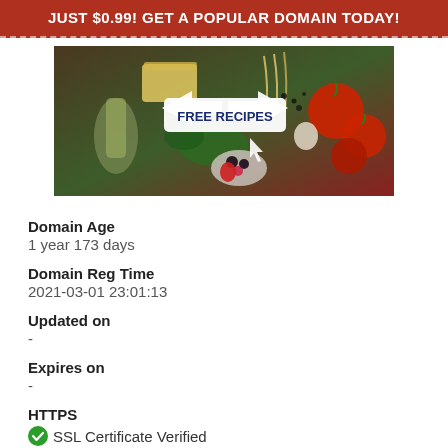JUST $0.99! GET A POPULAR DOMAIN TODAY!
[Figure (photo): Advertisement image showing food ingredients (cheese, tomatoes, pasta, herbs, olive oil, berries) with a white button labeled FREE RECIPES and two arrows pointing at it, plus a cursor arrow.]
Domain Age
1 year 173 days
Domain Reg Time
2021-03-01 23:01:13
Updated on
-
Expires on
-
HTTPS
SSL Certificate Verified